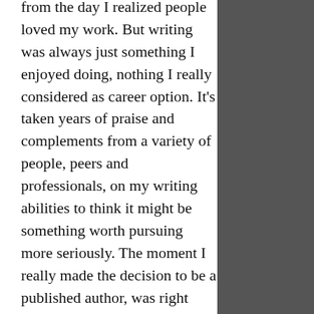from the day I realized people loved my work. But writing was always just something I enjoyed doing, nothing I really considered as career option. It's taken years of praise and complements from a variety of people, peers and professionals, on my writing abilities to think it might be something worth pursuing more seriously. The moment I really made the decision to be a published author, was right after I sent out a sample of The White Warrior series to some close friends of mine. I was just looking for some critiques but the resulting excitement, and